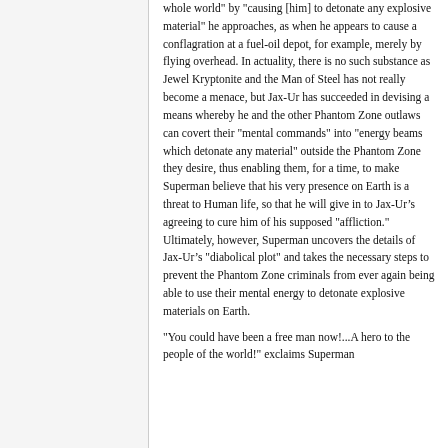whole world" by "causing [him] to detonate any explosive material" he approaches, as when he appears to cause a conflagration at a fuel-oil depot, for example, merely by flying overhead. In actuality, there is no such substance as Jewel Kryptonite and the Man of Steel has not really become a menace, but Jax-Ur has succeeded in devising a means whereby he and the other Phantom Zone outlaws can covert their "mental commands" into "energy beams which detonate any material" outside the Phantom Zone they desire, thus enabling them, for a time, to make Superman believe that his very presence on Earth is a threat to Human life, so that he will give in to Jax-Urâ€™s agreeing to cure him of his supposed "affliction." Ultimately, however, Superman uncovers the details of Jax-Urâ€™s "diabolical plot" and takes the necessary steps to prevent the Phantom Zone criminals from ever again being able to use their mental energy to detonate explosive materials on Earth.
"You could have been a free man now!...A hero to the people of the world!" exclaims Superman